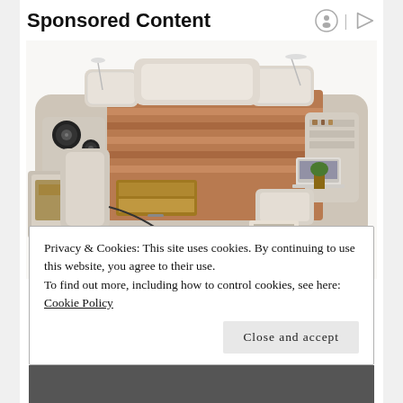Sponsored Content
[Figure (photo): A multi-functional luxury bed with built-in speakers, storage drawers, massage chair, reading lamps, shelving, and a laptop stand. The bed frame is cream/beige leather with wood-tone storage compartments open to show contents.]
Privacy & Cookies: This site uses cookies. By continuing to use this website, you agree to their use.
To find out more, including how to control cookies, see here: Cookie Policy
Close and accept